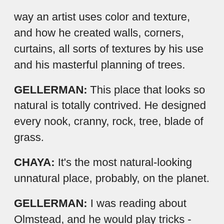way an artist uses color and texture, and how he created walls, corners, curtains, all sorts of textures by his use and his masterful planning of trees.
GELLERMAN: This place that looks so natural is totally contrived. He designed every nook, cranny, rock, tree, blade of grass.
CHAYA: It's the most natural-looking unnatural place, probably, on the planet.
GELLERMAN: I was reading about Olmstead, and he would play tricks - optical illusions - with foliage and trees. He would put dark trees in the foreground and then the light-colored trees in the background, and it would give the sense of depth.
CHAYA: Yes. Frederick Law Olmstead was an illusionist - he was also a brilliant mind who people said could think